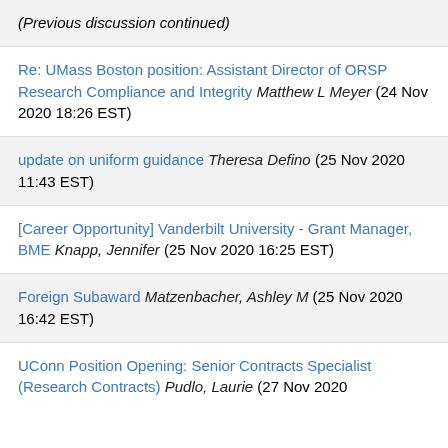(Previous discussion continued)
Re: UMass Boston position: Assistant Director of ORSP Research Compliance and Integrity Matthew L Meyer (24 Nov 2020 18:26 EST)
update on uniform guidance Theresa Defino (25 Nov 2020 11:43 EST)
[Career Opportunity] Vanderbilt University - Grant Manager, BME Knapp, Jennifer (25 Nov 2020 16:25 EST)
Foreign Subaward Matzenbacher, Ashley M (25 Nov 2020 16:42 EST)
UConn Position Opening: Senior Contracts Specialist (Research Contracts) Pudlo, Laurie (27 Nov 2020